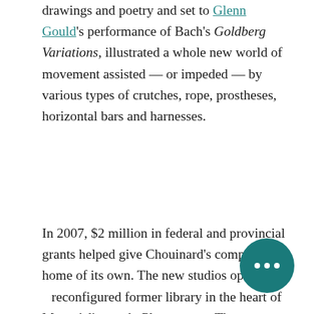drawings and poetry and set to Glenn Gould's performance of Bach's Goldberg Variations, illustrated a whole new world of movement assisted — or impeded — by various types of crutches, rope, prostheses, horizontal bars and harnesses.
In 2007, $2 million in federal and provincial grants helped give Chouinard's company a home of its own. The new studios opened in a reconfigured former library in the heart of Montréal's trendy Plateau area. The